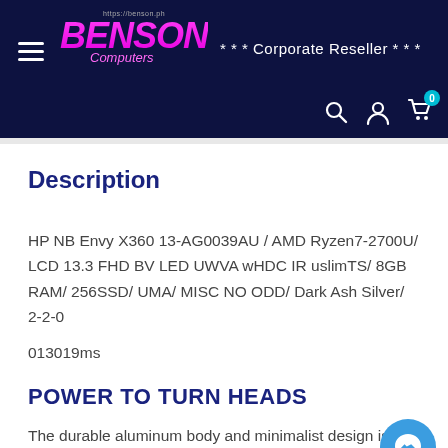https://benson.ph BENSON Computers *** Corporate Reseller ***
Description
HP NB Envy X360 13-AG0039AU / AMD Ryzen7-2700U/ LCD 13.3 FHD BV LED UWVA wHDC IR uslimTS/ 8GB RAM/ 256SSD/ UMA/ MISC NO ODD/ Dark Ash Silver/ 2-2-0
013019ms
POWER TO TURN HEADS
The durable aluminum body and minimalist design is accented